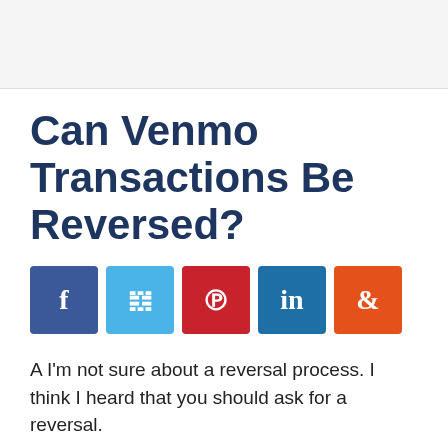Can Venmo Transactions Be Reversed?
[Figure (infographic): Social sharing buttons: Facebook (blue), Twitter (light blue), Pinterest (red), LinkedIn (dark blue), StumbleUpon (orange)]
A I'm not sure about a reversal process. I think I heard that you should ask for a reversal.